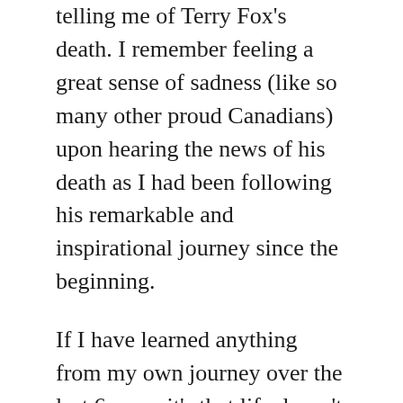telling me of Terry Fox's death. I remember feeling a great sense of sadness (like so many other proud Canadians) upon hearing the news of his death as I had been following his remarkable and inspirational journey since the beginning.
If I have learned anything from my own journey over the last 6 years it's that life doesn't always go as we plan and that sometimes we may feel defeated but Terry Fox's strength, spirit, determination, courage and bravery has taught us that it's ok to accept defeat sometimes and that we need to learn to forgive ourselves sometimes because somethings you just cannot avoid.